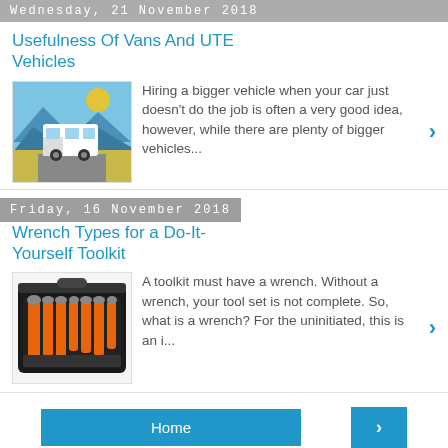Wednesday, 21 November 2018
Usefulness Of Vans And UTE Vehicles
[Figure (photo): A white van driving on a road with mountains and yellow flowers in the background]
Hiring a bigger vehicle when your car just doesn't do the job is often a very good idea, however, while there are plenty of bigger vehicles...
Friday, 16 November 2018
Wrench Types for a Do-It-Yourself Toolkit
[Figure (photo): A toolkit case open showing orange-handled tools including wrenches and other implements]
A toolkit must have a wrench. Without a wrench, your tool set is not complete. So, what is a wrench? For the uninitiated, this is an i...
Home   View web version